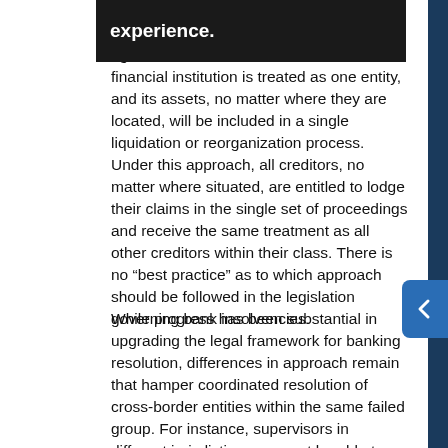juris... experience. ...e is only ... financial institution is treated as one entity, and its assets, no matter where they are located, will be included in a single liquidation or reorganization process. Under this approach, all creditors, no matter where situated, are entitled to lodge their claims in the single set of proceedings and receive the same treatment as all other creditors within their class. There is no “best practice” as to which approach should be followed in the legislation governing bank insolvencies.
While progress has been substantial in upgrading the legal framework for banking resolution, differences in approach remain that hamper coordinated resolution of cross-border entities within the same failed group. For instance, supervisors in different jurisdictions may not be able to intervene branches and subsidiaries of a failed group in a coordinated fashion due to differences in the legal definition of bank insolvency or in the legally mandated minimum period before liquidation. Different treatment of shareholders also